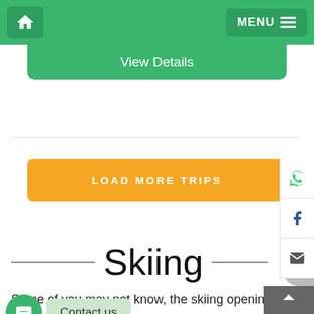Home | MENU
View Details
LOAD MORE TRIPS
Skiing
Some of you may not know, the skiing openings that Pakistan has to bring to the table. Despite the fact that skiing stages in Pakistan, there are different skiing recognizes that you can venture